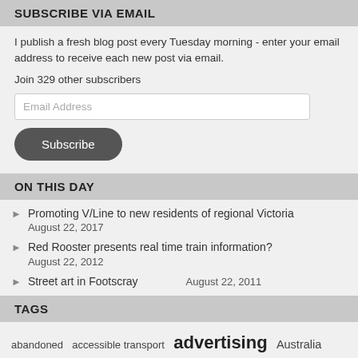SUBSCRIBE VIA EMAIL
I publish a fresh blog post every Tuesday morning - enter your email address to receive each new post via email.
Join 329 other subscribers
Email Address
Subscribe
ON THIS DAY
Promoting V/Line to new residents of regional Victoria
August 22, 2017
Red Rooster presents real time train information?
August 22, 2012
Street art in Footscray
August 22, 2011
TAGS
abandoned accessible transport advertising Australia blogging buses City Loop Connex Melbourne DDA compliance